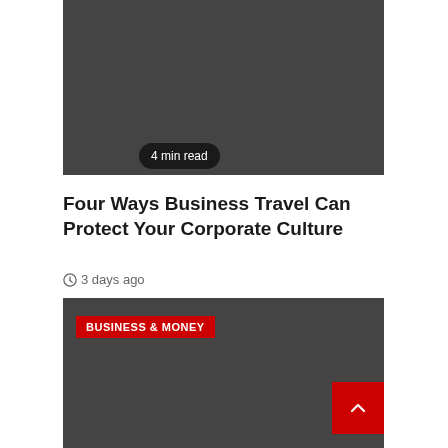[Figure (photo): Dark gray image placeholder for article thumbnail with '4 min read' badge overlay]
Four Ways Business Travel Can Protect Your Corporate Culture
3 days ago
[Figure (photo): Dark gray image placeholder for second article with 'BUSINESS & MONEY' category badge overlay and back-to-top button]